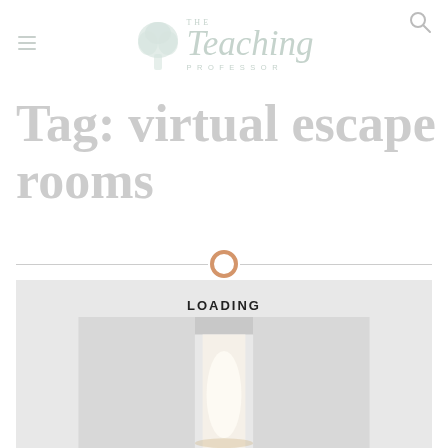THE Teaching PROFESSOR
Tag: virtual escape rooms
[Figure (other): Decorative divider with an orange ring/circle in the center and horizontal lines extending left and right]
[Figure (other): Loading screen placeholder showing a door graphic with 'LOADING' text, light gray background suggesting an escape room door image]